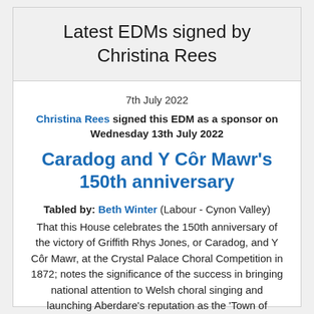Latest EDMs signed by Christina Rees
7th July 2022
Christina Rees signed this EDM as a sponsor on Wednesday 13th July 2022
Caradog and Y Côr Mawr's 150th anniversary
Tabled by: Beth Winter (Labour - Cynon Valley)
That this House celebrates the 150th anniversary of the victory of Griffith Rhys Jones, or Caradog, and Y Côr Mawr, at the Crystal Palace Choral Competition in 1872; notes the significance of the success in bringing national attention to Welsh choral singing and launching Aberdare's reputation as the 'Town of